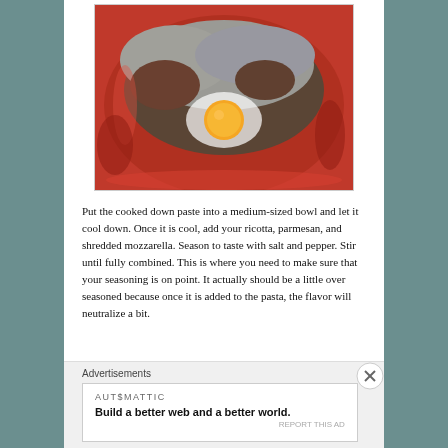[Figure (photo): A red bowl containing ground meat mixture with a raw egg cracked on top, visible yolk, with what appears to be breadcrumbs or cheese mixed in]
Put the cooked down paste into a medium-sized bowl and let it cool down. Once it is cool, add your ricotta, parmesan, and shredded mozzarella. Season to taste with salt and pepper. Stir until fully combined. This is where you need to make sure that your seasoning is on point. It actually should be a little over seasoned because once it is added to the pasta, the flavor will neutralize a bit.
Advertisements
AUTOMATTIC
Build a better web and a better world.